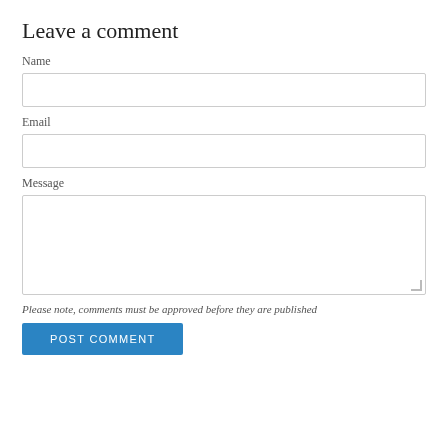Leave a comment
Name
[Figure (other): Name input field (empty text box)]
Email
[Figure (other): Email input field (empty text box)]
Message
[Figure (other): Message textarea (empty, resizable)]
Please note, comments must be approved before they are published
[Figure (other): POST COMMENT button (blue)]